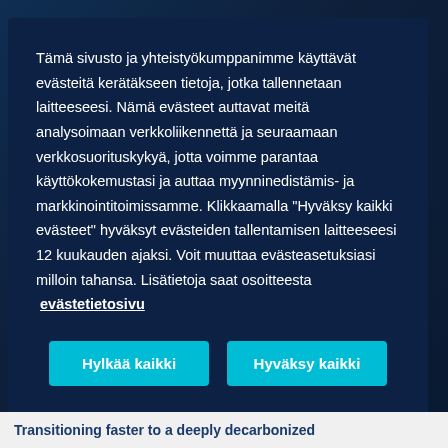Tämä sivusto ja yhteistyökumppanimme käyttävät evästeitä kerätäkseen tietoja, jotka tallennetaan laitteeseesi. Nämä evästeet auttavat meitä analysoimaan verkkoliikennettä ja seuraamaan verkkosuorituskykyä, jotta voimme parantaa käyttökokemustasi ja auttaa myynninedistämis- ja markkinointitoimissamme. Klikkaamalla "Hyväksy kaikki evästeet" hyväksyt evästeiden tallentamisen laitteeseesi 12 kuukauden ajaksi. Voit muuttaa evästeasetuksiasi milloin tahansa. Lisätietoja saat osoitteesta evästetietosivu
Hylkää kaikki
Hyväksy kaikki
Transitioning faster to a deeply decarbonized